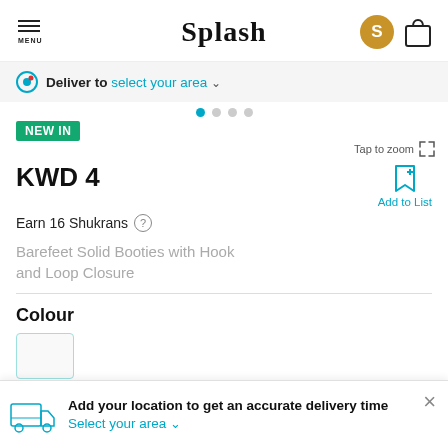Splash
Deliver to select your area
NEW IN
Tap to zoom
KWD 4
Add to List
Earn 16 Shukrans
Barefeet Solid Booties with Hook and Loop Closure
Colour
Add your location to get an accurate delivery time
Select your area